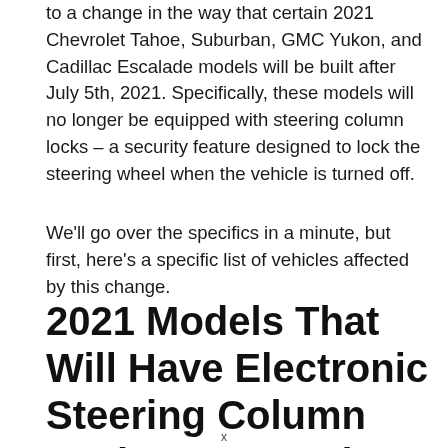to a change in the way that certain 2021 Chevrolet Tahoe, Suburban, GMC Yukon, and Cadillac Escalade models will be built after July 5th, 2021. Specifically, these models will no longer be equipped with steering column locks – a security feature designed to lock the steering wheel when the vehicle is turned off.
We'll go over the specifics in a minute, but first, here's a specific list of vehicles affected by this change.
2021 Models That Will Have Electronic Steering Column Locks Removed
x